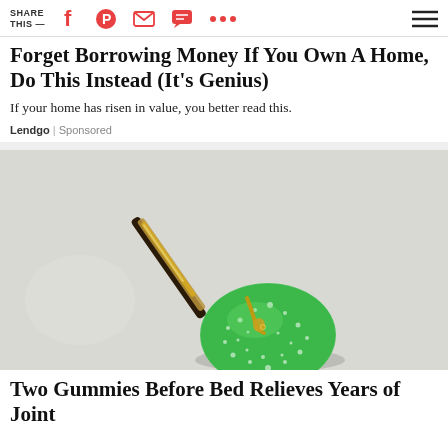SHARE THIS —
Forget Borrowing Money If You Own A Home, Do This Instead (It's Genius)
If your home has risen in value, you better read this.
Lendgo | Sponsored
[Figure (photo): Close-up photo of a green sugar-coated gummy candy with a dropper dispensing golden oil onto it, against a light grey background.]
Two Gummies Before Bed Relieves Years of Joint